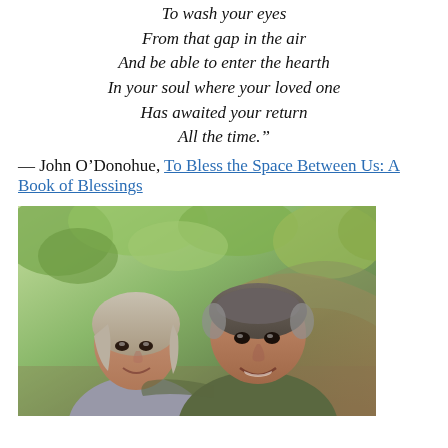To wash your eyes
From that gap in the air
And be able to enter the hearth
In your soul where your loved one
Has awaited your return
All the time."
— John O'Donohue, To Bless the Space Between Us: A Book of Blessings
[Figure (photo): Outdoor selfie of a middle-aged couple smiling, surrounded by green trees and foliage in a wooded setting.]